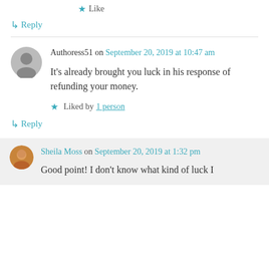shop online.
Like
↳ Reply
Authoress51 on September 20, 2019 at 10:47 am
It's already brought you luck in his response of refunding your money.
Liked by 1 person
↳ Reply
Sheila Moss on September 20, 2019 at 1:32 pm
Good point! I don't know what kind of luck I